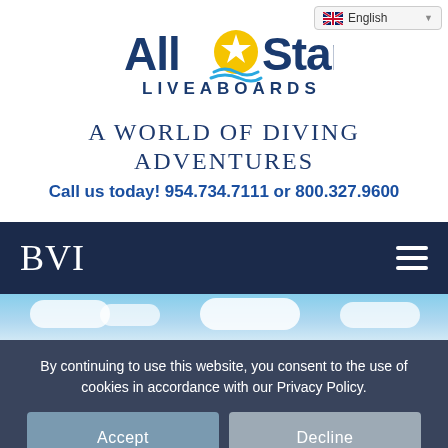[Figure (logo): All Star Liveaboards logo with star and wave graphic]
A WORLD OF DIVING ADVENTURES
Call us today! 954.734.7111 or 800.327.9600
BVI
[Figure (photo): Sky with white clouds photo strip]
By continuing to use this website, you consent to the use of cookies in accordance with our Privacy Policy.
Accept  Decline